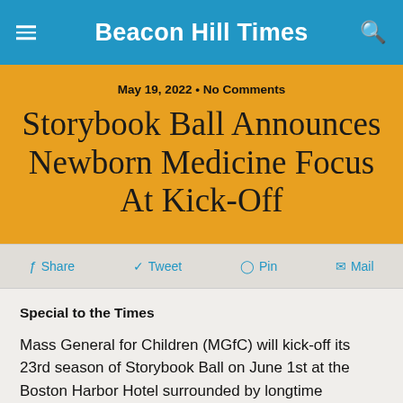Beacon Hill Times
May 19, 2022 • No Comments
Storybook Ball Announces Newborn Medicine Focus At Kick-Off
Share  Tweet  Pin  Mail
Special to the Times
Mass General for Children (MGfC) will kick-off its 23rd season of Storybook Ball on June 1st at the Boston Harbor Hotel surrounded by longtime supporters of